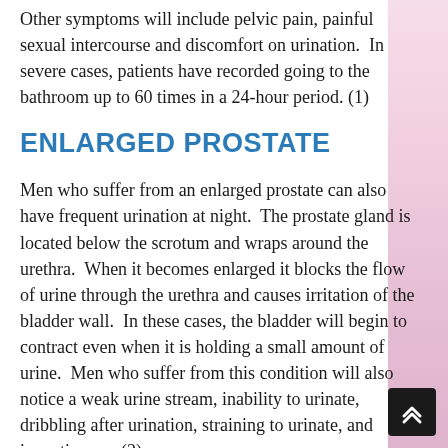Other symptoms will include pelvic pain, painful sexual intercourse and discomfort on urination. In severe cases, patients have recorded going to the bathroom up to 60 times in a 24-hour period. (1)
ENLARGED PROSTATE
Men who suffer from an enlarged prostate can also have frequent urination at night. The prostate gland is located below the scrotum and wraps around the urethra. When it becomes enlarged it blocks the flow of urine through the urethra and causes irritation of the bladder wall. In these cases, the bladder will begin to contract even when it is holding a small amount of urine. Men who suffer from this condition will also notice a weak urine stream, inability to urinate, dribbling after urination, straining to urinate, and incontinence. (2)
HOW TO STOP FREQUENT